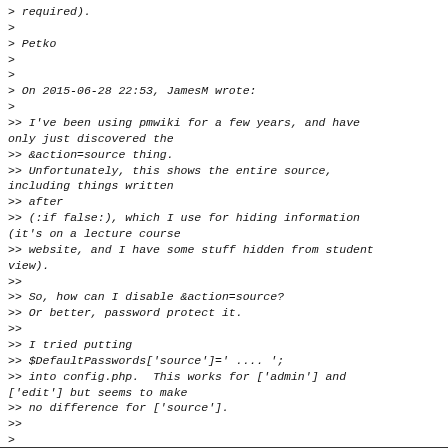> required).
>
> Petko
>
>
> On 2015-06-28 22:53, JamesM wrote:
>
>> I've been using pmwiki for a few years, and have only just discovered the
>> &action=source thing.
>> Unfortunately, this shows the entire source, including things written
>> after
>> (:if false:), which I use for hiding information (it's on a lecture course
>> website, and I have some stuff hidden from student view).
>>
>> So, how can I disable &action=source?
>> Or better, password protect it.
>>
>> I tried putting
>> $DefaultPasswords['source']=' .... ';
>> into config.php.  This works for ['admin'] and ['edit'] but seems to make
>> no difference for ['source'].
>>
>
>
>